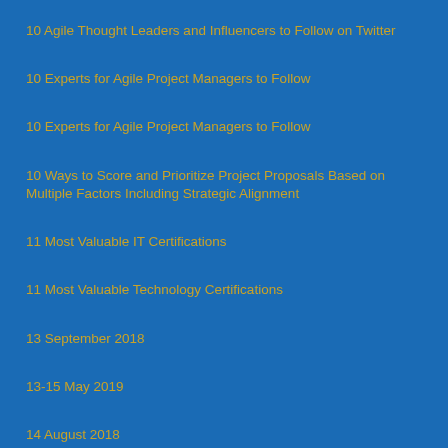10 Agile Thought Leaders and Influencers to Follow on Twitter
10 Experts for Agile Project Managers to Follow
10 Experts for Agile Project Managers to Follow
10 Ways to Score and Prioritize Project Proposals Based on Multiple Factors Including Strategic Alignment
11 Most Valuable IT Certifications
11 Most Valuable Technology Certifications
13 September 2018
13-15 May 2019
14 August 2018